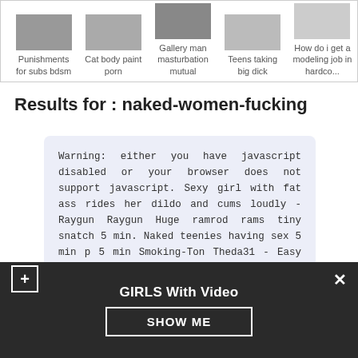[Figure (screenshot): Thumbnail strip with 5 items: Punishments for subs bdsm, Cat body paint porn, Gallery man masturbation mutual, Teens taking big dick, How do i get a modeling job in hardco...]
Results for : naked-women-fucking
Warning: either you have javascript disabled or your browser does not support javascript. Sexy girl with fat ass rides her dildo and cums loudly - Raygun Raygun Huge ramrod rams tiny snatch 5 min. Naked teenies having sex 5 min p 5 min Smoking-Ton Theda31 - Easy fucking with a juicy ass StrongSrg. Ads by TrafficFactory. Juicy sweet wet cracks licked 5 min.
[Figure (screenshot): Partial second content box, cut off at bottom]
GIRLS With Video
SHOW ME